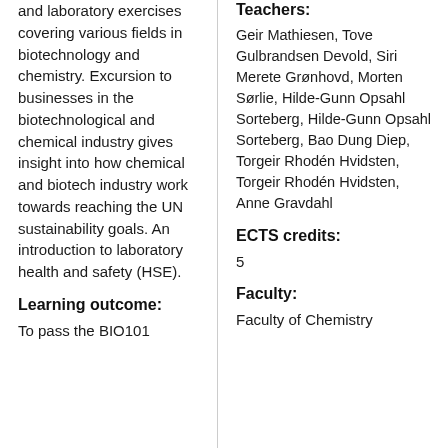and laboratory exercises covering various fields in biotechnology and chemistry. Excursion to businesses in the biotechnological and chemical industry gives insight into how chemical and biotech industry work towards reaching the UN sustainability goals. An introduction to laboratory health and safety (HSE).
Learning outcome:
To pass the BIO101
Teachers:
Geir Mathiesen, Tove Gulbrandsen Devold, Siri Merete Grønhovd, Morten Sørlie, Hilde-Gunn Opsahl Sorteberg, Hilde-Gunn Opsahl Sorteberg, Bao Dung Diep, Torgeir Rhodén Hvidsten, Torgeir Rhodén Hvidsten, Anne Gravdahl
ECTS credits:
5
Faculty:
Faculty of Chemistry